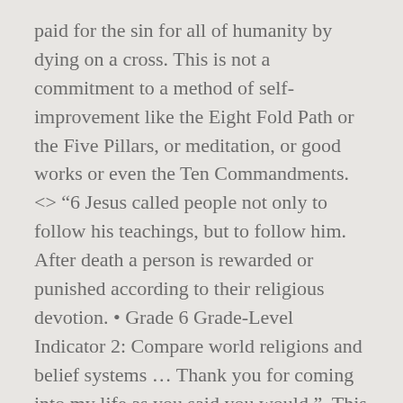paid for the sin for all of humanity by dying on a cross. This is not a commitment to a method of self-improvement like the Eight Fold Path or the Five Pillars, or meditation, or good works or even the Ten Commandments. <> "6 Jesus called people not only to follow his teachings, but to follow him. After death a person is rewarded or punished according to their religious devotion. • Grade 6 Grade-Level Indicator 2: Compare world religions and belief systems ... Thank you for coming into my life as you said you would.". This is what leads to the creation of religions. <> New Age teaches eastern mysticism and spiritual, metaphysical and psychic